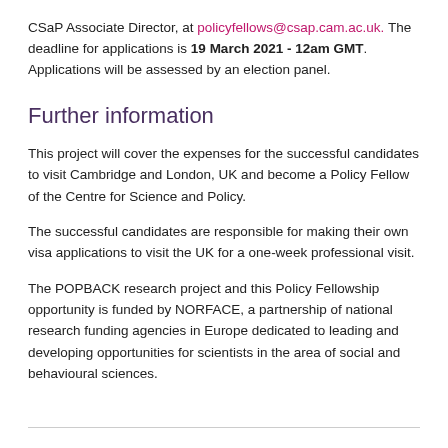CSaP Associate Director, at policyfellows@csap.cam.ac.uk. The deadline for applications is 19 March 2021 - 12am GMT. Applications will be assessed by an election panel.
Further information
This project will cover the expenses for the successful candidates to visit Cambridge and London, UK and become a Policy Fellow of the Centre for Science and Policy.
The successful candidates are responsible for making their own visa applications to visit the UK for a one-week professional visit.
The POPBACK research project and this Policy Fellowship opportunity is funded by NORFACE, a partnership of national research funding agencies in Europe dedicated to leading and developing opportunities for scientists in the area of social and behavioural sciences.